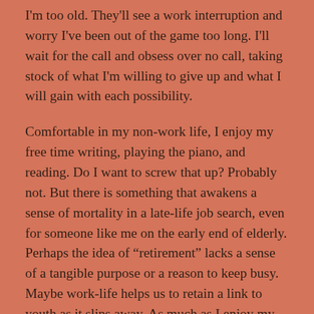I'm too old. They'll see a work interruption and worry I've been out of the game too long. I'll wait for the call and obsess over no call, taking stock of what I'm willing to give up and what I will gain with each possibility.
Comfortable in my non-work life, I enjoy my free time writing, playing the piano, and reading. Do I want to screw that up? Probably not. But there is something that awakens a sense of mortality in a late-life job search, even for someone like me on the early end of elderly. Perhaps the idea of “retirement” lacks a sense of a tangible purpose or a reason to keep busy. Maybe work-life helps us to retain a link to youth as it slips away. As much as I enjoy my flexible lifestyle, I wonder if I haven’t put myself out to pasture prematurely. Given a choice, will I disrupt my plan and return to work? I’ll wait to